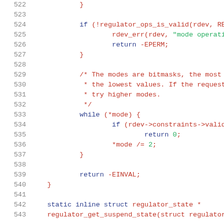[Figure (screenshot): Source code listing (C language) showing lines 522-543 of a kernel regulator driver, with line numbers in gray, keywords in dark blue, strings in green, and other code in dark red/maroon on a white background.]